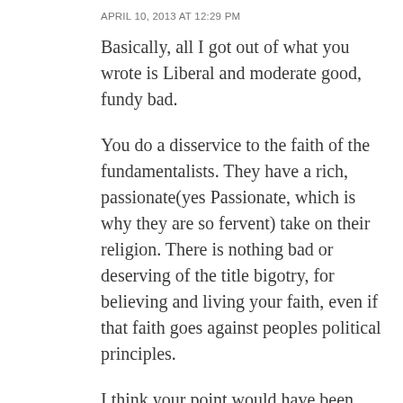APRIL 10, 2013 AT 12:29 PM
Basically, all I got out of what you wrote is Liberal and moderate good, fundy bad.
You do a disservice to the faith of the fundamentalists. They have a rich, passionate(yes Passionate, which is why they are so fervent) take on their religion. There is nothing bad or deserving of the title bigotry, for believing and living your faith, even if that faith goes against peoples political principles.
I think your point would have been